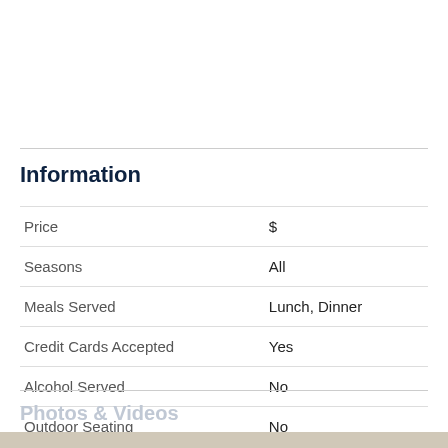Information
|  |  |
| --- | --- |
| Price | $ |
| Seasons | All |
| Meals Served | Lunch, Dinner |
| Credit Cards Accepted | Yes |
| Alcohol Served | No |
| Outdoor Seating | No |
Photos & Videos